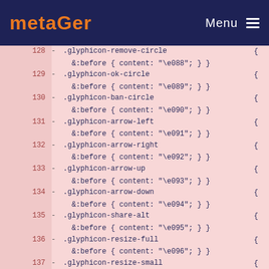metaGer  Menu
128  - .glyphicon-remove-circle  {
        &:before { content: "\e088"; } }
129  - .glyphicon-ok-circle  {
        &:before { content: "\e089"; } }
130  - .glyphicon-ban-circle  {
        &:before { content: "\e090"; } }
131  - .glyphicon-arrow-left  {
        &:before { content: "\e091"; } }
132  - .glyphicon-arrow-right  {
        &:before { content: "\e092"; } }
133  - .glyphicon-arrow-up  {
        &:before { content: "\e093"; } }
134  - .glyphicon-arrow-down  {
        &:before { content: "\e094"; } }
135  - .glyphicon-share-alt  {
        &:before { content: "\e095"; } }
136  - .glyphicon-resize-full  {
        &:before { content: "\e096"; } }
137  - .glyphicon-resize-small  {
        &:before { content: "\e097"; } }
138  - .glyphicon-exclamation-sign  {